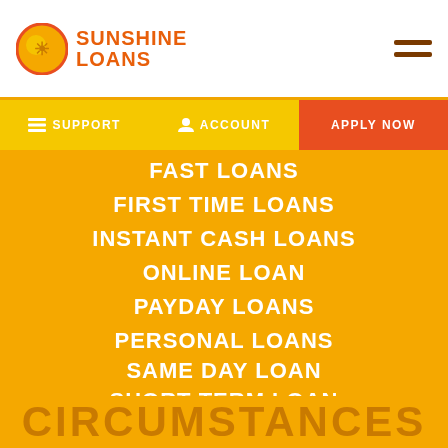Sunshine Loans
FAST LOANS
FIRST TIME LOANS
INSTANT CASH LOANS
ONLINE LOAN
PAYDAY LOANS
PERSONAL LOANS
SAME DAY LOAN
SHORT TERM LOAN
SMALL LOAN
STUDENT LOANS
CIRCUMSTANCES